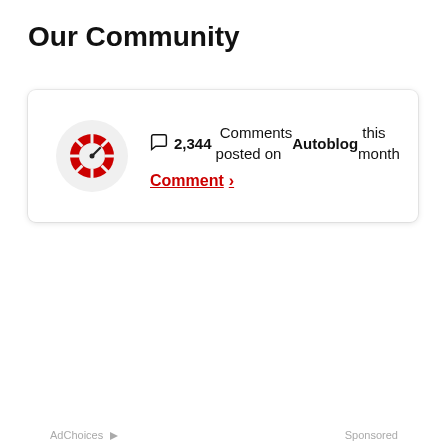Our Community
[Figure (logo): Autoblog/Verizon Media red circular speedometer logo on light gray circle background]
2,344 Comments posted on Autoblog this month
Comment ›
AdChoices ▷  Sponsored